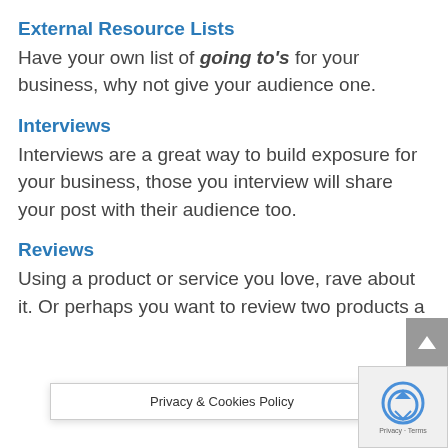External Resource Lists
Have your own list of going to's for your business, why not give your audience one.
Interviews
Interviews are a great way to build exposure for your business, those you interview will share your post with their audience too.
Reviews
Using a product or service you love, rave about it. Or perhaps you want to review two products a…